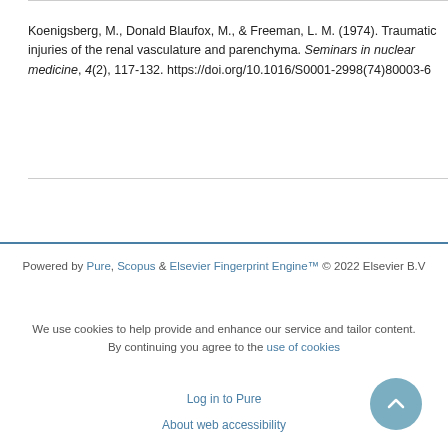Koenigsberg, M., Donald Blaufox, M., & Freeman, L. M. (1974). Traumatic injuries of the renal vasculature and parenchyma. Seminars in nuclear medicine, 4(2), 117-132. https://doi.org/10.1016/S0001-2998(74)80003-6
Powered by Pure, Scopus & Elsevier Fingerprint Engine™ © 2022 Elsevier B.V
We use cookies to help provide and enhance our service and tailor content. By continuing you agree to the use of cookies
Log in to Pure
About web accessibility